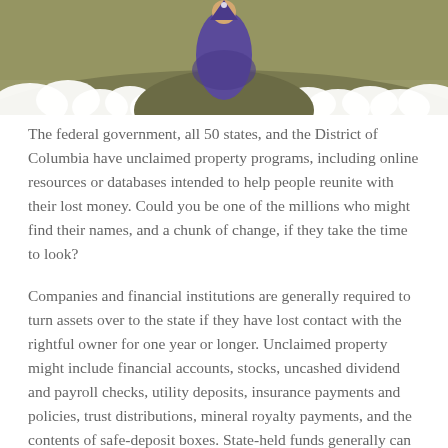[Figure (illustration): Decorative illustration showing a figure (wizard or character in blue/purple robe) on a hill or mountain with clouds, against an olive/green background. Partially visible at top of page.]
The federal government, all 50 states, and the District of Columbia have unclaimed property programs, including online resources or databases intended to help people reunite with their lost money. Could you be one of the millions who might find their names, and a chunk of change, if they take the time to look?
Companies and financial institutions are generally required to turn assets over to the state if they have lost contact with the rightful owner for one year or longer. Unclaimed property might include financial accounts, stocks, uncashed dividend and payroll checks, utility deposits, insurance payments and policies, trust distributions, mineral royalty payments, and the contents of safe-deposit boxes. State-held funds generally can be claimed in perpetuity by